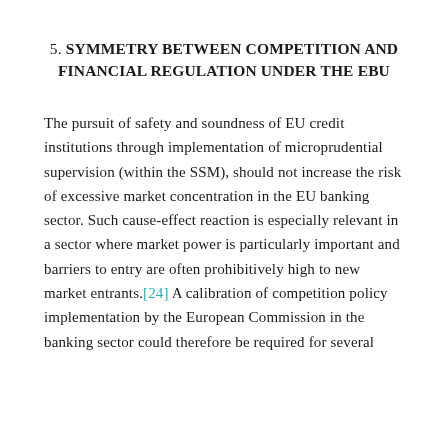5. SYMMETRY BETWEEN COMPETITION AND FINANCIAL REGULATION UNDER THE EBU
The pursuit of safety and soundness of EU credit institutions through implementation of microprudential supervision (within the SSM), should not increase the risk of excessive market concentration in the EU banking sector. Such cause-effect reaction is especially relevant in a sector where market power is particularly important and barriers to entry are often prohibitively high to new market entrants.[24] A calibration of competition policy implementation by the European Commission in the banking sector could therefore be required for several